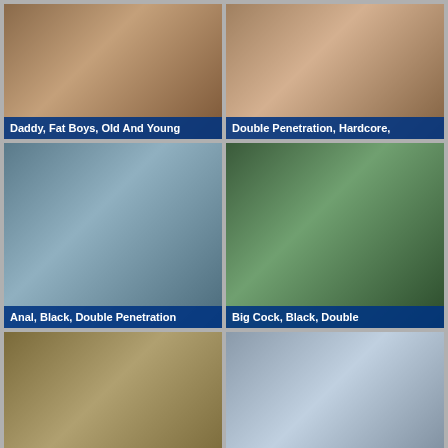[Figure (photo): Thumbnail 1 with caption: Daddy, Fat Boys, Old And Young]
[Figure (photo): Thumbnail 2 with caption: Double Penetration, Hardcore,]
[Figure (photo): Thumbnail 3 with caption: Anal, Black, Double Penetration]
[Figure (photo): Thumbnail 4 with caption: Big Cock, Black, Double]
[Figure (photo): Thumbnail 5 with caption: Anal, Blowjob, Double Penetration]
[Figure (photo): Thumbnail 6 with caption: Double Penetration, Shaved, Riding]
[Figure (photo): Thumbnail 7 - partial, no caption visible]
[Figure (photo): Thumbnail 8 - partial, no caption visible]